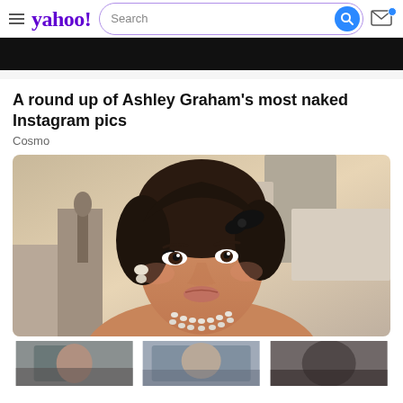yahoo! [Search bar] [Mail icon]
[Figure (other): Black advertisement banner]
A round up of Ashley Graham's most naked Instagram pics
Cosmo
[Figure (photo): Close-up portrait of Ashley Graham wearing pearl necklace and black bow in hair at what appears to be a red carpet event (Oscars). She wears diamond/crystal earrings and a strapless outfit.]
[Figure (photo): Thumbnail row of three small photos at the bottom of the page]